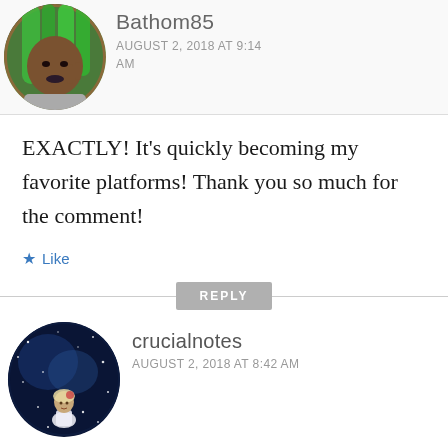[Figure (photo): Circular avatar photo of a person with green braids and grey top]
Bathom85
AUGUST 2, 2018 AT 9:14 AM
EXACTLY! It's quickly becoming my favorite platforms! Thank you so much for the comment!
★ Like
REPLY
[Figure (photo): Circular avatar photo with galaxy/space background and a small figure]
crucialnotes
AUGUST 2, 2018 AT 8:42 AM
Wowiie👏👏great✌